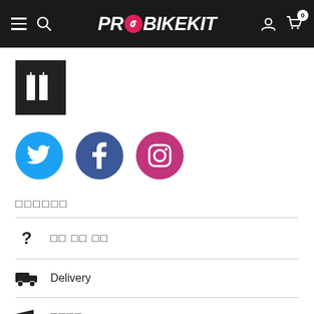PROBIKEKIT
[Figure (logo): Dark square box with two vertical white bars (barcode-like icon)]
[Figure (infographic): Three social media icons: Twitter (blue bird), Facebook (blue f), Instagram (pink camera)]
□□□□□□
? □□ □□ □□
🚚 Delivery
✈ □□□□
↻ □□ □□